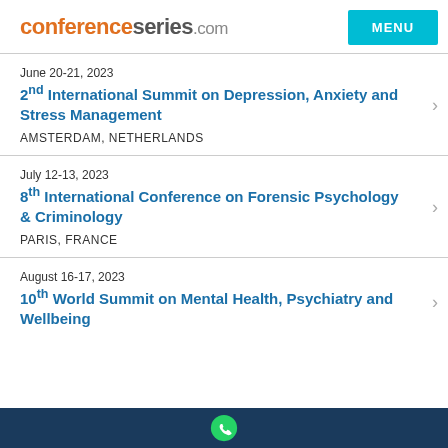conferenceseries.com
June 20-21, 2023 | 2nd International Summit on Depression, Anxiety and Stress Management | AMSTERDAM, NETHERLANDS
July 12-13, 2023 | 8th International Conference on Forensic Psychology & Criminology | PARIS, FRANCE
August 16-17, 2023 | 10th World Summit on Mental Health, Psychiatry and Wellbeing
WhatsApp icon